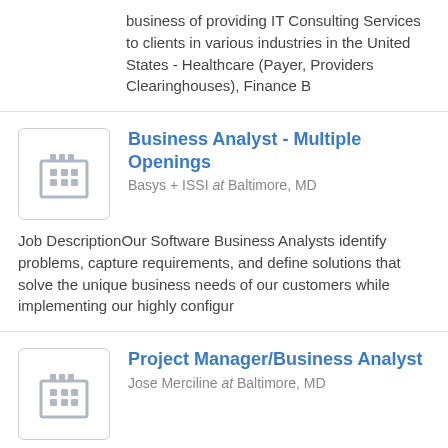business of providing IT Consulting Services to clients in various industries in the United States - Healthcare (Payer, Providers Clearinghouses), Finance B
Business Analyst - Multiple Openings
Basys + ISSI at Baltimore, MD
Job DescriptionOur Software Business Analysts identify problems, capture requirements, and define solutions that solve the unique business needs of our customers while implementing our highly configur
Project Manager/Business Analyst
Jose Merciline at Baltimore, MD
Job DescriptionRole DescriptionOur